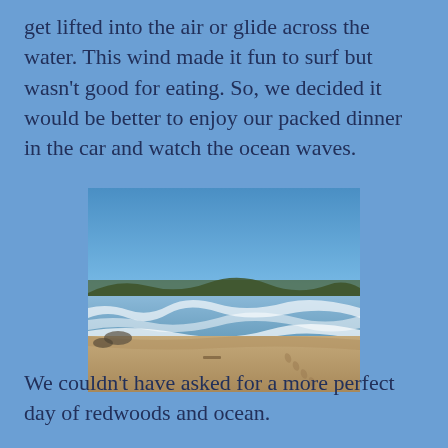get lifted into the air or glide across the water. This wind made it fun to surf but wasn't good for eating. So, we decided it would be better to enjoy our packed dinner in the car and watch the ocean waves.
[Figure (photo): A beach scene with ocean waves rolling onto sandy shore, clear blue sky above, and a distant tree-lined ridge on the horizon.]
We couldn't have asked for a more perfect day of redwoods and ocean.